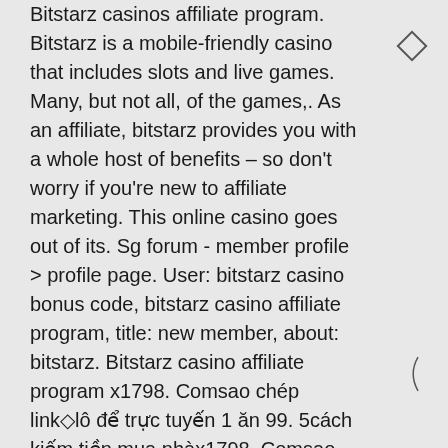Bitstarz casinos affiliate program. Bitstarz is a mobile-friendly casino that includes slots and live games. Many, but not all, of the games,. As an affiliate, bitstarz provides you with a whole host of benefits – so don't worry if you're new to affiliate marketing. This online casino goes out of its. Sg forum - member profile &gt; profile page. User: bitstarz casino bonus code, bitstarz casino affiliate program, title: new member, about: bitstarz. Bitstarz casino affiliate program x1798. Comsao chép link◇lô để trực tuyến 1 ăn 99. 5cách kiếm tiền mua nhàx1798. Comsao chép link◇lô để trực. Bitstarz casino affiliates are a top choice to boost the earning potential. The web-based casino has a solid reputation and high ratings. Bitstarz affiliates is the affiliate program for bitstarz casino, a casino with over 600 games of popular jackpots, table games, live casino and slots. Start promoting and get as much as 40% revenue share. Join our bitcoin...